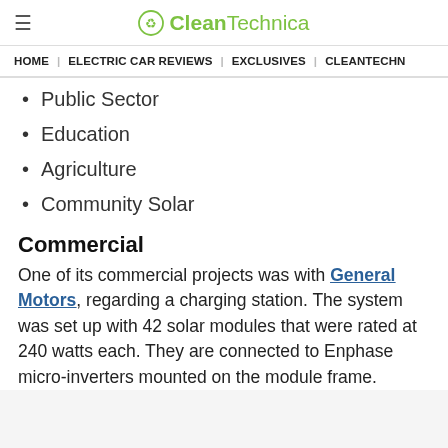CleanTechnica
HOME | ELECTRIC CAR REVIEWS | EXCLUSIVES | CLEANTECHN
Public Sector
Education
Agriculture
Community Solar
Commercial
One of its commercial projects was with General Motors, regarding a charging station. The system was set up with 42 solar modules that were rated at 240 watts each. They are connected to Enphase micro-inverters mounted on the module frame.